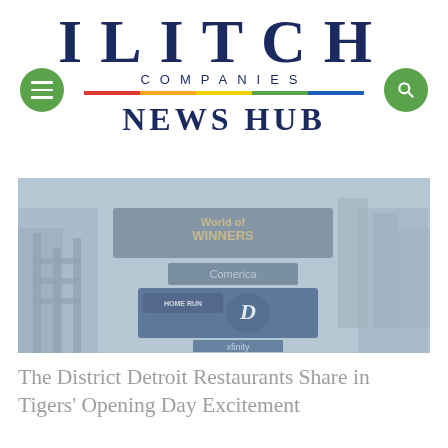ILITCH COMPANIES NEWS HUB
[Figure (photo): Aerial/panoramic view of Comerica Park stadium area with scoreboard showing Detroit Tigers 'D' logo and Xfinity branding, city skyline in background, muted/faded color tone]
The District Detroit Restaurants Share in Tigers' Opening Day Excitement